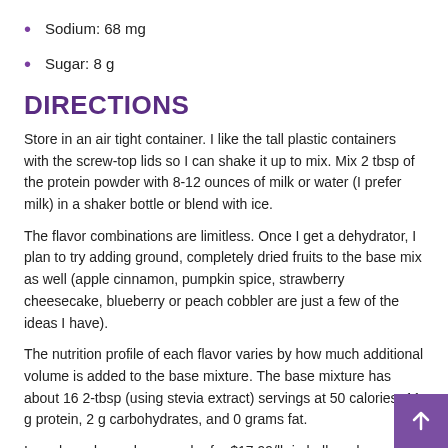Sodium: 68 mg
Sugar: 8 g
DIRECTIONS
Store in an air tight container. I like the tall plastic containers with the screw-top lids so I can shake it up to mix. Mix 2 tbsp of the protein powder with 8-12 ounces of milk or water (I prefer milk) in a shaker bottle or blend with ice.
The flavor combinations are limitless. Once I get a dehydrator, I plan to try adding ground, completely dried fruits to the base mix as well (apple cinnamon, pumpkin spice, strawberry cheesecake, blueberry or peach cobbler are just a few of the ideas I have).
The nutrition profile of each flavor varies by how much additional volume is added to the base mixture. The base mixture has about 16 2-tbsp (using stevia extract) servings at 50 calories, 11 g protein, 2 g carbohydrates, and 0 grams fat.
I purchased my whey powder for $17.99/lb in bulk and was able to get 4 cups out of a pound. Each container I made cost me about $6.00 to make (not including flavorings) or $0.36 per serving. Not bad!